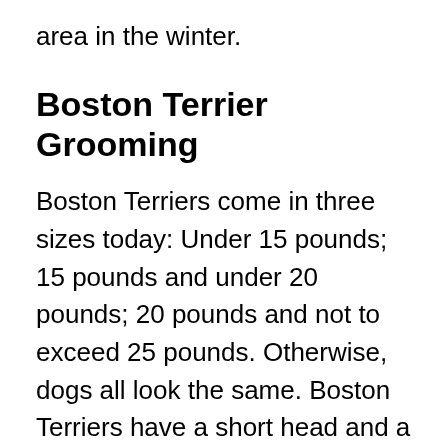area in the winter.
Boston Terrier Grooming
Boston Terriers come in three sizes today: Under 15 pounds; 15 pounds and under 20 pounds; 20 pounds and not to exceed 25 pounds. Otherwise, dogs all look the same. Boston Terriers have a short head and a compact body. Their ears are small but stand erect and they have a short tail. Their muzzle is short and does not typically have any wrinkles.